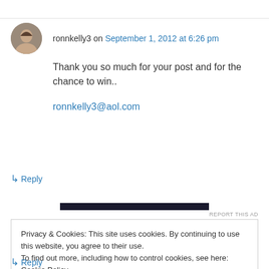ronnkelly3 on September 1, 2012 at 6:26 pm
Thank you so much for your post and for the chance to win..
ronnkelly3@aol.com
↳ Reply
[Figure (other): Dark horizontal advertisement bar with REPORT THIS AD label]
Privacy & Cookies: This site uses cookies. By continuing to use this website, you agree to their use.
To find out more, including how to control cookies, see here: Cookie Policy
Close and accept
↳ Reply